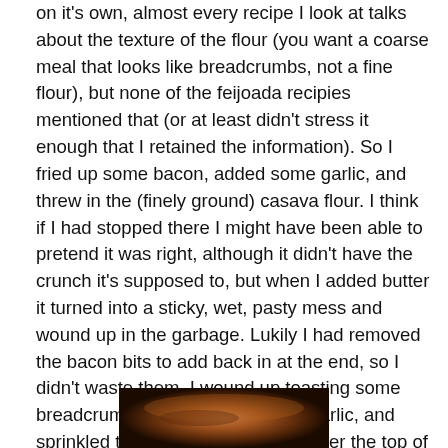on it's own, almost every recipe I look at talks about the texture of the flour (you want a coarse meal that looks like breadcrumbs, not a fine flour), but none of the feijoada recipies mentioned that (or at least didn't stress it enough that I retained the information). So I fried up some bacon, added some garlic, and threw in the (finely ground) casava flour. I think if I had stopped there I might have been able to pretend it was right, although it didn't have the crunch it's supposed to, but when I added butter it turned into a sticky, wet, pasty mess and wound up in the garbage. Lukily I had removed the bacon bits to add back in at the end, so I didn't waste them. I wound up toasting some breadcrumbs in butter with some garlic, and sprinkled that with the bacon bits over the top of the feijoada for some crunch. You want this type of casava flour*, NOT this one*.
[Figure (photo): Partial photo of a dish, likely the feijoada, visible at the bottom of the page.]